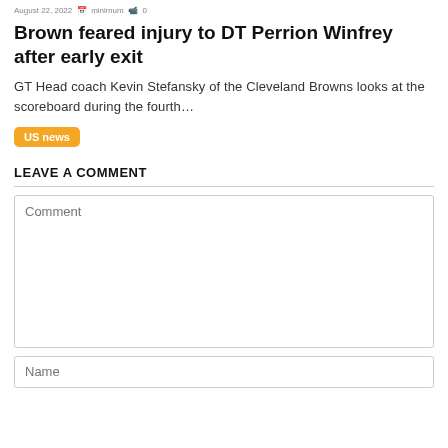August 22, 2022  •  minimum(?)  •  0
Brown feared injury to DT Perrion Winfrey after early exit
GT Head coach Kevin Stefansky of the Cleveland Browns looks at the scoreboard during the fourth…
US news
LEAVE A COMMENT
Comment
Name